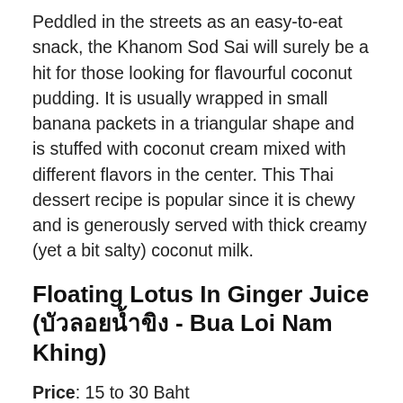Peddled in the streets as an easy-to-eat snack, the Khanom Sod Sai will surely be a hit for those looking for flavourful coconut pudding. It is usually wrapped in small banana packets in a triangular shape and is stuffed with coconut cream mixed with different flavors in the center. This Thai dessert recipe is popular since it is chewy and is generously served with thick creamy (yet a bit salty) coconut milk.
Floating Lotus In Ginger Juice (บัวลอยน้ำขิง - Bua Loi Nam Khing)
Price: 15 to 30 Baht
While this one may not have that distinct coconut milk and sugar combo, this Bua Loi is a type of dessert is popular for its unique coconut and ginger flavor...